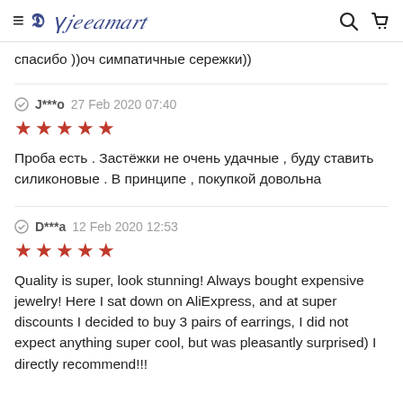Fleepmart
спасибо ))оч симпатичные сережки))
J***o 27 Feb 2020 07:40 ★★★★★ Проба есть . Застёжки не очень удачные , буду ставить силиконовые . В принципе , покупкой довольна
D***a 12 Feb 2020 12:53 ★★★★★ Quality is super, look stunning! Always bought expensive jewelry! Here I sat down on AliExpress, and at super discounts I decided to buy 3 pairs of earrings, I did not expect anything super cool, but was pleasantly surprised) I directly recommend!!!